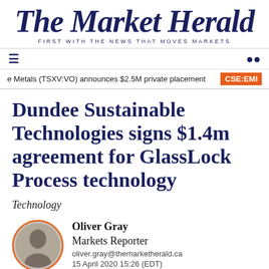The Market Herald — FIRST WITH THE NEWS THAT MOVES MARKETS
e Metals (TSXV:VO) announces $2.5M private placement  CSE:EMI
Dundee Sustainable Technologies signs $1.4m agreement for GlassLock Process technology
Technology
Oliver Gray
Markets Reporter
oliver.gray@themarketherald.ca
15 April 2020 15:26 (EDT)